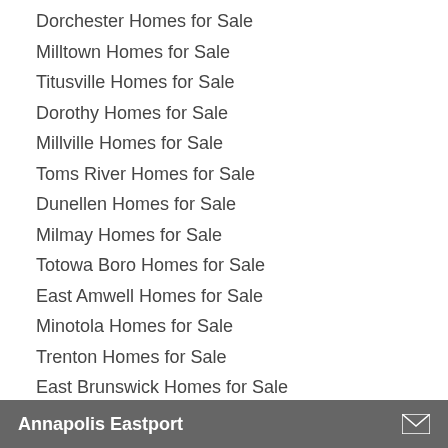Dorchester Homes for Sale
Milltown Homes for Sale
Titusville Homes for Sale
Dorothy Homes for Sale
Millville Homes for Sale
Toms River Homes for Sale
Dunellen Homes for Sale
Milmay Homes for Sale
Totowa Boro Homes for Sale
East Amwell Homes for Sale
Minotola Homes for Sale
Trenton Homes for Sale
East Brunswick Homes for Sale
Monmouth Beach Homes for Sale
Tuckahoe Homes for Sale
East Hanover Homes for Sale
Monmouth Junction Homes for Sale
Tuckerton Homes for Sale
Annapolis Eastport